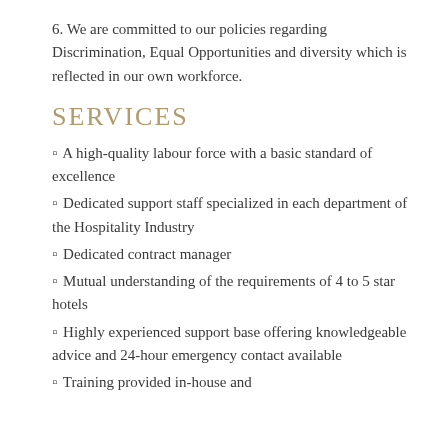6. We are committed to our policies regarding Discrimination, Equal Opportunities and diversity which is reflected in our own workforce.
SERVICES
A high-quality labour force with a basic standard of excellence
Dedicated support staff specialized in each department of the Hospitality Industry
Dedicated contract manager
Mutual understanding of the requirements of 4 to 5 star hotels
Highly experienced support base offering knowledgeable advice and 24-hour emergency contact available
Training provided in-house and